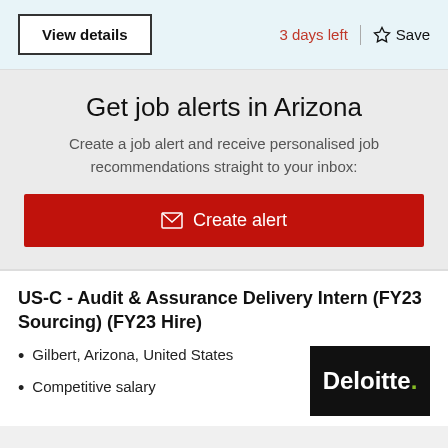View details
3 days left
Save
Get job alerts in Arizona
Create a job alert and receive personalised job recommendations straight to your inbox:
Create alert
US-C - Audit & Assurance Delivery Intern (FY23 Sourcing) (FY23 Hire)
Gilbert, Arizona, United States
Competitive salary
[Figure (logo): Deloitte logo — white text 'Deloitte.' on black background with green dot]